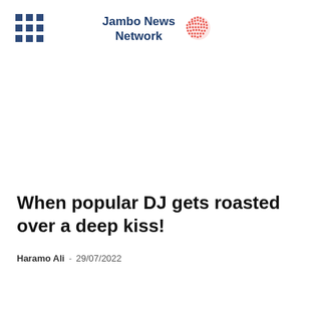Jambo News Network
When popular DJ gets roasted over a deep kiss!
Haramo Ali  -  29/07/2022